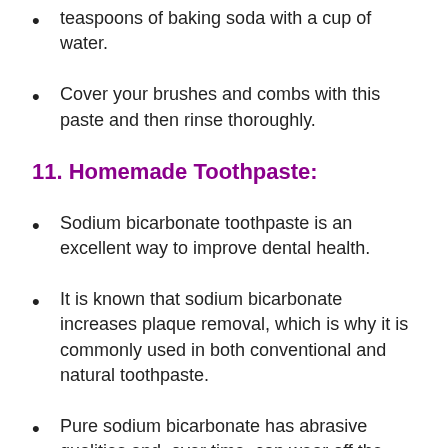teaspoons of baking soda with a cup of water.
Cover your brushes and combs with this paste and then rinse thoroughly.
11. Homemade Toothpaste:
Sodium bicarbonate toothpaste is an excellent way to improve dental health.
It is known that sodium bicarbonate increases plaque removal, which is why it is commonly used in both conventional and natural toothpaste.
Pure sodium bicarbonate has abrasive qualities and, over time, can wear off the enamel.
Instead, to keep your breath fresh, you can add